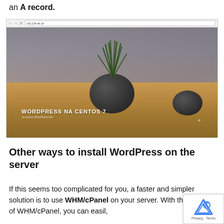an A record.
[Figure (screenshot): Browser screenshot showing a WordPress on CentOS 7 website with a plant in a dark round pot on a wooden table. Overlay text reads 'WORDPRESS NA CENTOS 7'.]
Other ways to install WordPress on the server
If this seems too complicated for you, a faster and simpler solution is to use WHM/cPanel on your server. With the help of WHM/cPanel, you can easil,